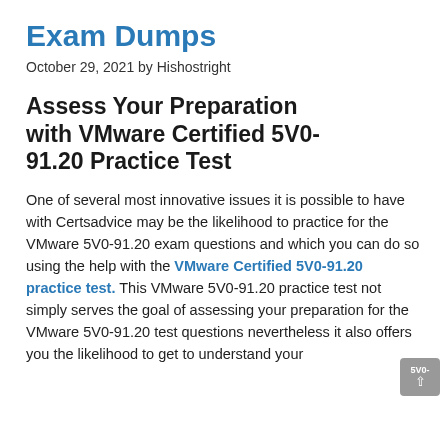Exam Dumps
October 29, 2021 by Hishostright
Assess Your Preparation with VMware Certified 5V0-91.20 Practice Test
One of several most innovative issues it is possible to have with Certsadvice may be the likelihood to practice for the VMware 5V0-91.20 exam questions and which you can do so using the help with the VMware Certified 5V0-91.20 practice test. This VMware 5V0-91.20 practice test not simply serves the goal of assessing your preparation for the VMware 5V0-91.20 test questions nevertheless it also offers you the likelihood to get to understand your